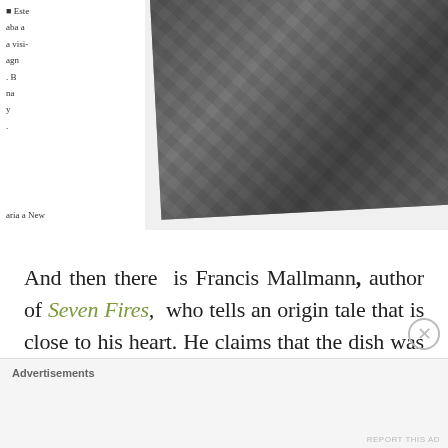[Figure (photo): Black and white photograph of a group of people standing together, partially cropped, tilted at a slight angle. Sidebar text fragments visible on left side.]
And then there is Francis Mallmann, author of Seven Fires, who tells an origin tale that is close to his heart. He claims that the dish was was created by
Advertisements